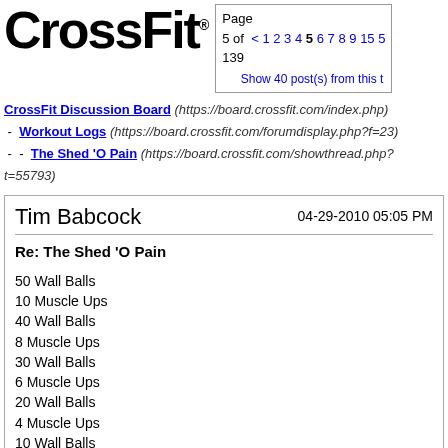[Figure (logo): CrossFit logo in bold black text with registered trademark symbol]
Page 5 of 139  < 1 2 3 4 5 6 7 8 9 15 5
Show 40 post(s) from this t
CrossFit Discussion Board (https://board.crossfit.com/index.php)
- Workout Logs (https://board.crossfit.com/forumdisplay.php?f=23)
- - The Shed 'O Pain (https://board.crossfit.com/showthread.php?t=55793)
Tim Babcock
04-29-2010 05:05 PM
Re: The Shed 'O Pain
50 Wall Balls
10 Muscle Ups
40 Wall Balls
8 Muscle Ups
30 Wall Balls
6 Muscle Ups
20 Wall Balls
4 Muscle Ups
10 Wall Balls
2 Muscle Ups
18:45 Ouch!
I wanted to break 20 minutes so I really pushed. I felt Pukie in the back of my throat.
I moved the feature. It's now on the right side of my steep wall. Much better.